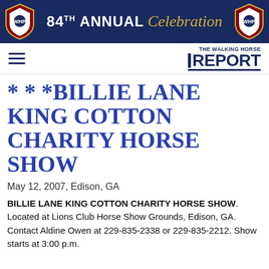84TH ANNUAL Celebration
[Figure (logo): The Walking Horse Report logo with hamburger menu icon]
***BILLIE LANE KING COTTON CHARITY HORSE SHOW
May 12, 2007, Edison, GA
BILLIE LANE KING COTTON CHARITY HORSE SHOW. Located at Lions Club Horse Show Grounds, Edison, GA. Contact Aldine Owen at 229-835-2338 or 229-835-2212. Show starts at 3:00 p.m.